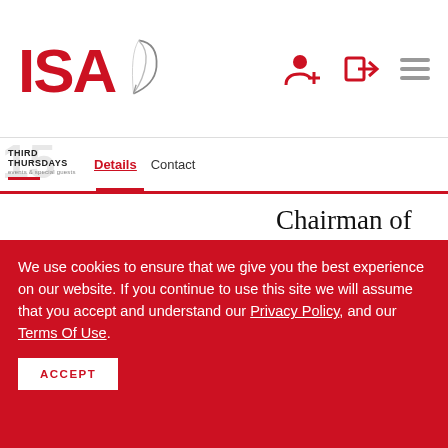ISA [logo with feather] — navigation icons: user add, login, menu
THIRD THURSDAYS — events & special guests | Details  Contact
Chairman of the Willamette Writers Conference (2005). Reach
We use cookies to ensure that we give you the best experience on our website. If you continue to use this site we will assume that you accept and understand our Privacy Policy, and our Terms Of Use.
ACCEPT